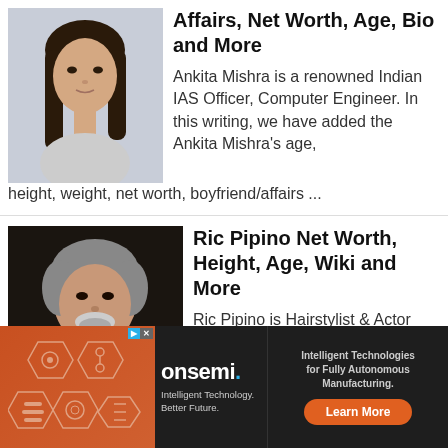[Figure (photo): Photo of Ankita Mishra, a young Indian woman with long dark hair]
Ankita Mishra Height, Affairs, Net Worth, Age, Bio and More
Ankita Mishra is a renowned Indian IAS Officer, Computer Engineer. In this writing, we have added the Ankita Mishra's age, height, weight, net worth, boyfriend/affairs ...
[Figure (photo): Photo of Ric Pipino, a middle-aged man with gray curly hair and beard]
Ric Pipino Net Worth, Height, Age, Wiki and More
Ric Pipino is Hairstylist & Actor from New York City, USA. We have added the Ric Pipino's net
[Figure (other): Advertisement banner for onsemi: Intelligent Technologies for Fully Autonomous Manufacturing. Learn More button.]